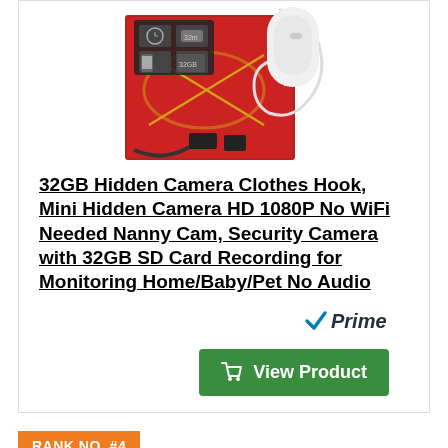[Figure (photo): Product photo of hidden camera clothes hook with accessories including USB cable, SD card, and gold ribbon gift wrap background]
32GB Hidden Camera Clothes Hook, Mini Hidden Camera HD 1080P No WiFi Needed Nanny Cam, Security Camera with 32GB SD Card Recording for Monitoring Home/Baby/Pet No Audio
[Figure (logo): Amazon Prime logo with checkmark and italic Prime text in blue/gray]
[Figure (other): Green View Product button with shopping cart icon]
RANK NO. #4
[Figure (photo): Partial product photo of another hidden camera device, partially visible at bottom of page]